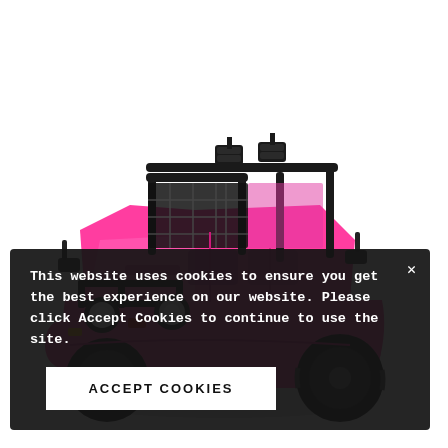[Figure (photo): Pink children's ride-on toy jeep/truck with black roll cage, black grille guard, black off-road tires, roof-mounted lights, and open sides, photographed on a white background from a front-left angle.]
This website uses cookies to ensure you get the best experience on our website. Please click Accept Cookies to continue to use the site.
ACCEPT COOKIES